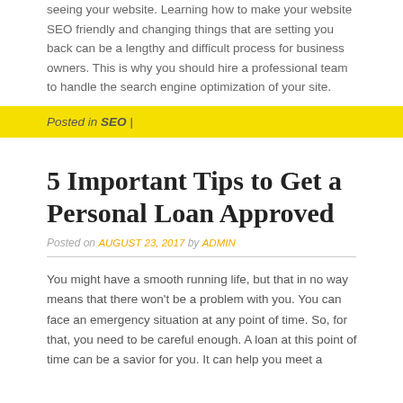seeing your website. Learning how to make your website SEO friendly and changing things that are setting you back can be a lengthy and difficult process for business owners. This is why you should hire a professional team to handle the search engine optimization of your site.
Posted in SEO |
5 Important Tips to Get a Personal Loan Approved
Posted on AUGUST 23, 2017 by ADMIN
You might have a smooth running life, but that in no way means that there won't be a problem with you. You can face an emergency situation at any point of time. So, for that, you need to be careful enough. A loan at this point of time can be a savior for you. It can help you meet a